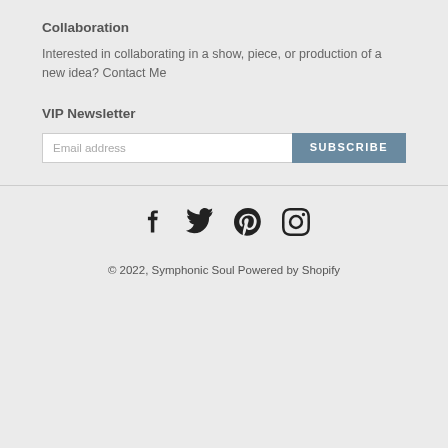Collaboration
Interested in collaborating in a show, piece, or production of a new idea? Contact Me
VIP Newsletter
Email address
SUBSCRIBE
© 2022, Symphonic Soul Powered by Shopify